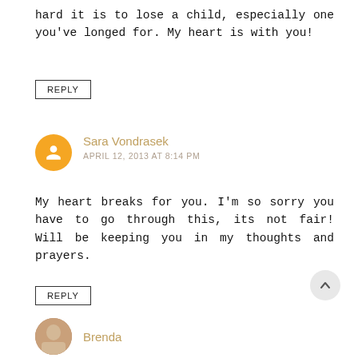hard it is to lose a child, especially one you've longed for. My heart is with you!
REPLY
Sara Vondrasek
APRIL 12, 2013 AT 8:14 PM
My heart breaks for you. I'm so sorry you have to go through this, its not fair! Will be keeping you in my thoughts and prayers.
REPLY
Brenda